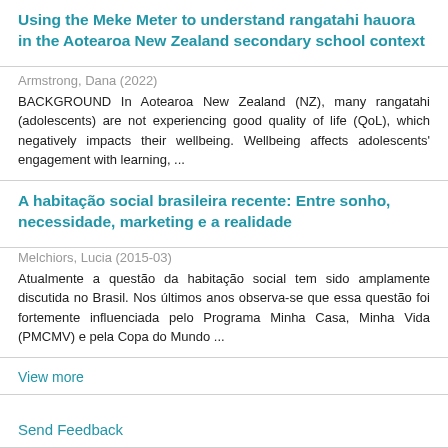Using the Meke Meter to understand rangatahi hauora in the Aotearoa New Zealand secondary school context
Armstrong, Dana (2022)
BACKGROUND In Aotearoa New Zealand (NZ), many rangatahi (adolescents) are not experiencing good quality of life (QoL), which negatively impacts their wellbeing. Wellbeing affects adolescents' engagement with learning, ...
A habitação social brasileira recente: Entre sonho, necessidade, marketing e a realidade
Melchiors, Lucia (2015-03)
Atualmente a questão da habitação social tem sido amplamente discutida no Brasil. Nos últimos anos observa-se que essa questão foi fortemente influenciada pelo Programa Minha Casa, Minha Vida (PMCMV) e pela Copa do Mundo ...
View more
Send Feedback
Research Bank is part of Te Pūkenga, New Zealand Institute of